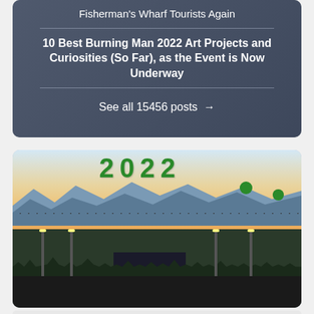Fisherman's Wharf Tourists Again
10 Best Burning Man 2022 Art Projects and Curiosities (So Far), as the Event is Now Underway
See all 15456 posts →
[Figure (photo): Aerial view of a large outdoor music festival (appears to be Coachella 2022) at dusk, with green balloon numbers '2022' floating in the sky above the main stage, mountains in the background, and a large LED-lit stage in the foreground surrounded by a massive crowd]